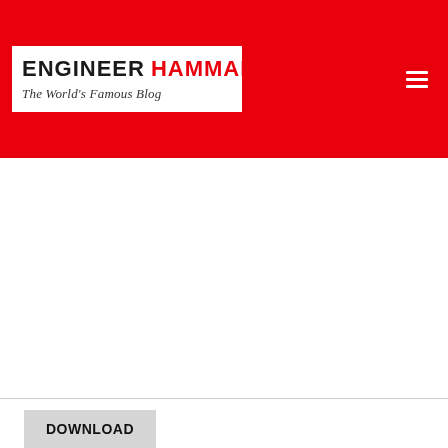ENGINEER HAMMAD – The World's Famous Blog
[Figure (logo): Engineer Hammad blog logo with white box containing bold text 'ENGINEER' in dark and 'HAMMAD' in red, with tagline 'The World's Famous Blog' in italic below, set against a red header background with a hamburger menu icon on the right.]
DOWNLOAD